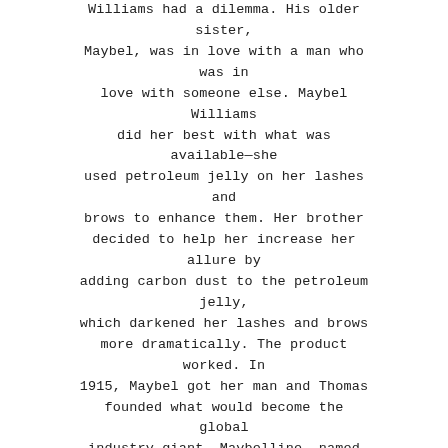Williams had a dilemma. His older sister, Maybel, was in love with a man who was in love with someone else. Maybel Williams did her best with what was available—she used petroleum jelly on her lashes and brows to enhance them. Her brother decided to help her increase her allure by adding carbon dust to the petroleum jelly, which darkened her lashes and brows more dramatically. The product worked. In 1915, Maybel got her man and Thomas founded what would become the global industry giant, Maybelline, named after the bride and her favourite beauty aid.
Two years later, Williams introduced Maybelline Cake Mascara, the first modern eye cosmetic made for everyday use. Initially available only through mail order, it was so popular that women began to ask for it in drugstores. The signature red Eyebrow Pencil followed, along with coloured eyeshadows and complementary